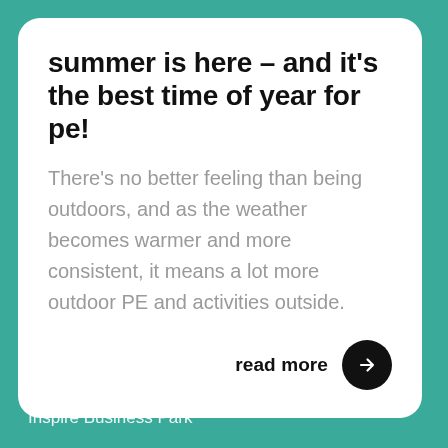summer is here – and it's the best time of year for pe!
There's no better feeling than being outdoors, and as the weather becomes warmer and more consistent, it means a lot more outdoor PE and activities outside.
read more →
PE Planning
Inspire Business Park